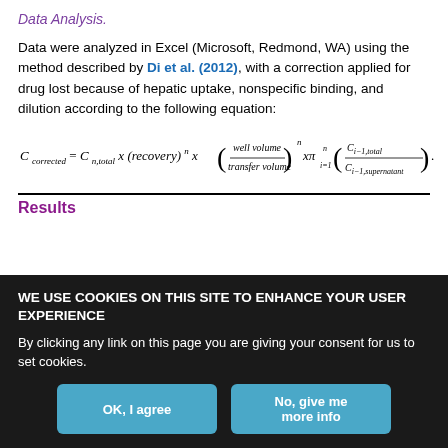Data Analysis.
Data were analyzed in Excel (Microsoft, Redmond, WA) using the method described by Di et al. (2012), with a correction applied for drug lost because of hepatic uptake, nonspecific binding, and dilution according to the following equation:
Results
WE USE COOKIES ON THIS SITE TO ENHANCE YOUR USER EXPERIENCE
By clicking any link on this page you are giving your consent for us to set cookies.